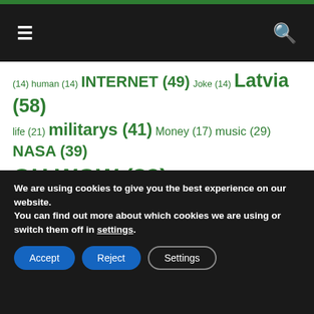☰ [menu] [search]
(14) human (14) INTERNET (49) Joke (14) Latvia (58) life (21) militarys (41) Money (17) music (29) NASA (39) OH WOW (83) panic (19) people (156) photo (20) popular (13) president (16) project (12) Riga (15) Russia (98) space (19) Sport (13) technics (62) Technology (22) Tourist (13) travel (19) U.S. (116) UFO (17) video (25) women (26)
We are using cookies to give you the best experience on our website.
You can find out more about which cookies we are using or switch them off in settings.
Accept
Reject
Settings